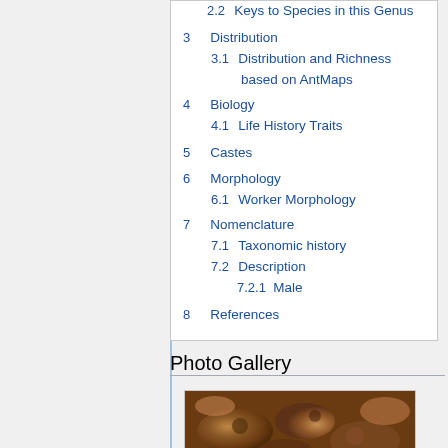2.2 Keys to Species in this Genus
3 Distribution
3.1 Distribution and Richness based on AntMaps
4 Biology
4.1 Life History Traits
5 Castes
6 Morphology
6.1 Worker Morphology
7 Nomenclature
7.1 Taxonomic history
7.2 Description
7.2.1 Male
8 References
Photo Gallery
[Figure (photo): Photo of ants, brownish-orange tones, close-up macro photograph]